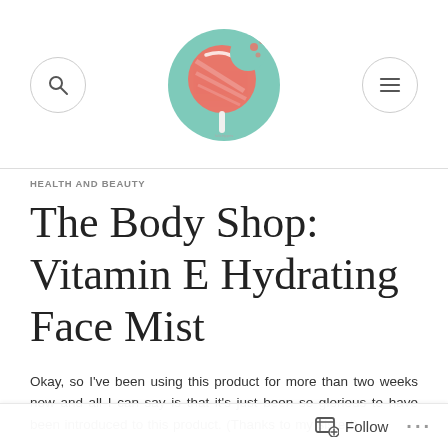Blog header with logo, search icon, and menu icon
HEALTH AND BEAUTY
The Body Shop: Vitamin E Hydrating Face Mist
Okay, so I've been using this product for more than two weeks now and all I can say is that it's just been so glorious to have been introduced to this product. (Thanks to my sister!)
Follow ...